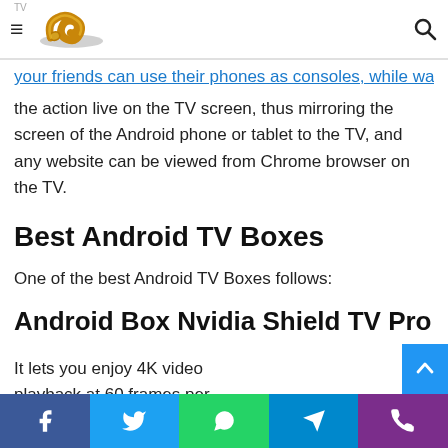TV [hamburger menu] [logo] [search icon]
your friends can use their phones as consoles, while watching the action live on the TV screen, thus mirroring the screen of the Android phone or tablet to the TV, and any website can be viewed from Chrome browser on the TV.
Best Android TV Boxes
One of the best Android TV Boxes follows:
Android Box Nvidia Shield TV Pro
It lets you enjoy 4K video playback at 60 frames per second, you can also enjoy a unique gaming experience with this smart box too. with it, you can use USB devices, an externa